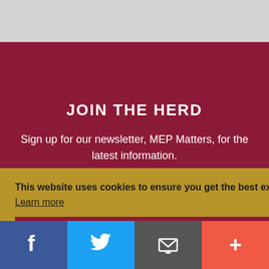JOIN THE HERD
Sign up for our newsletter, MEP Matters, for the latest information.
This website uses cookies to ensure you get the best experience on our website.
Learn more
Got it!
[Figure (infographic): Social media share bar at the bottom with four icons: Facebook (blue), Twitter (light blue), Email (dark gray), and a plus/share button (coral/red-orange).]